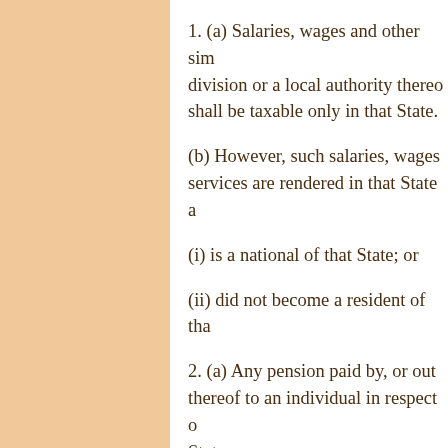1. (a) Salaries, wages and other similar remuneration paid by a Contracting State, a political subdivision or a local authority thereof to an individual in respect of services rendered to that State, subdivision or authority shall be taxable only in that State.
(b) However, such salaries, wages and other similar remuneration shall be taxable only in the other Contracting State if the services are rendered in that State and the individual is a resident of that State who:
(i) is a national of that State; or
(ii) did not become a resident of that State solely for the purpose of rendering the services.
2. (a) Any pension paid by, or out of funds created by, a Contracting State, a political subdivision or a local authority thereof to an individual in respect of services rendered to that State, subdivision or authority shall be taxable only in that State.
(b) However, such pension shall be taxable only in the other Contracting State if the individual is a resident of, that State.